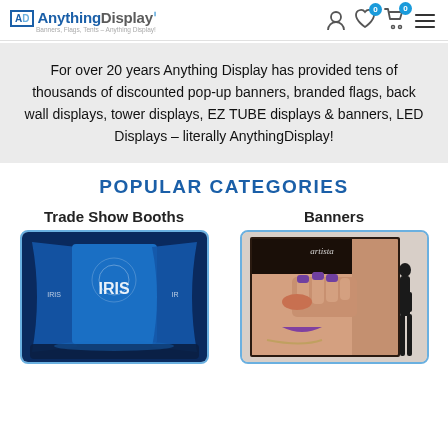AnythingDisplay - Banners, Flags, Tents - Anything Display!
For over 20 years Anything Display has provided tens of thousands of discounted pop-up banners, branded flags, back wall displays, tower displays, EZ TUBE displays & banners, LED Displays – literally AnythingDisplay!
POPULAR CATEGORIES
[Figure (photo): Trade show booth display with IRIS branding, blue illuminated curved back wall]
Trade Show Booths
[Figure (photo): Banner display with woman's face and person silhouette standing next to large printed banner]
Banners